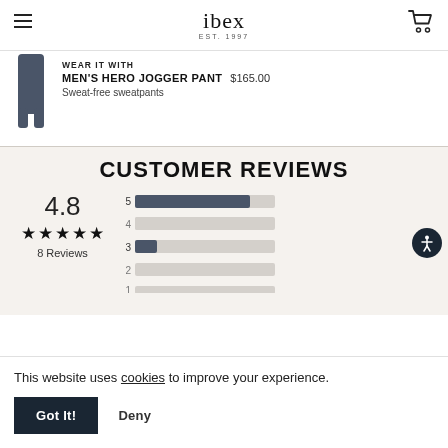ibex EST. 1997
WEAR IT WITH
MEN'S HERO JOGGER PANT $165.00
Sweat-free sweatpants
CUSTOMER REVIEWS
[Figure (bar-chart): Customer Ratings Distribution]
4.8 ★★★★★ 8 Reviews
This website uses cookies to improve your experience.
Got It!
Deny